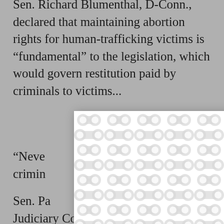Sen. Richard Blumenthal, D-Conn., declared that maintaining abortion rights for human-trafficking victims is “fundamental” to the legislation, which would govern restitution paid by criminals to victims...
[Figure (other): A modal/popup overlay with a white background and a decorative patterned background of interlocking circular shapes in light gray, with a close (X) button in the upper right corner.]
“Neve... erns of crimin... d.
Sen. Pa... of the Judiciary Committee, remains angry at Republicans for stalling Lynch, saying it affects the national security of the country. He recalls Republicans urging swift passage of President...